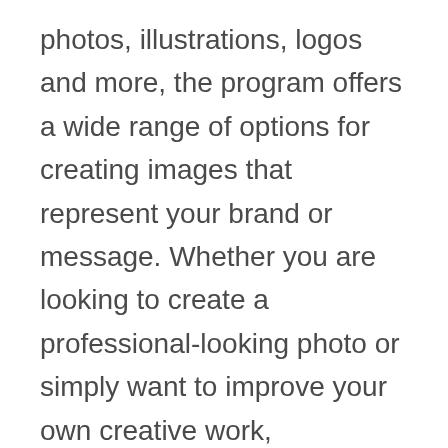photos, illustrations, logos and more, the program offers a wide range of options for creating images that represent your brand or message. Whether you are looking to create a professional-looking photo or simply want to improve your own creative work, Photoshop CC can help you achieve your goals.
Adobe InDesign CC for Visual Communication
Adobe InDesign CC is a powerful vector graphic design software that enables users to create high-quality graphics and layouts for